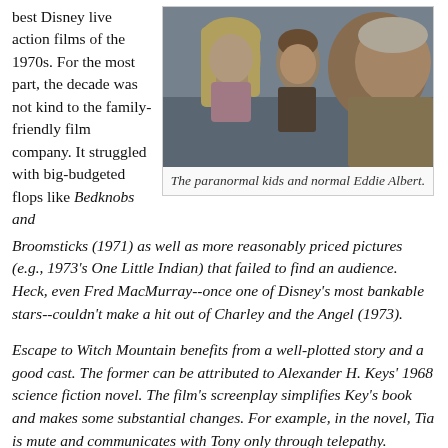best Disney live action films of the 1970s. For the most part, the decade was not kind to the family-friendly film company. It struggled with big-budgeted flops like Bedknobs and Broomsticks (1971) as well as more reasonably priced pictures (e.g., 1973's One Little Indian) that failed to find an audience. Heck, even Fred MacMurray--once one of Disney's most bankable stars--couldn't make a hit out of Charley and the Angel (1973).
[Figure (photo): A film still showing two children (a girl with long blonde hair and a boy) and an older man (Eddie Albert) looking alarmed or concerned, likely from a scene in Escape to Witch Mountain.]
The paranormal kids and normal Eddie Albert.
Escape to Witch Mountain benefits from a well-plotted story and a good cast. The former can be attributed to Alexander H. Keys' 1968 science fiction novel. The film's screenplay simplifies Key's book and makes some substantial changes. For example, in the novel, Tia is mute and communicates with Tony only through telepathy. However, the film still retains the central mystery of the children's origin and the